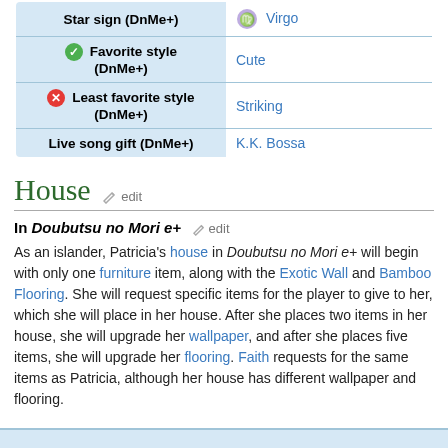| Property | Value |
| --- | --- |
| Star sign (DnMe+) | Virgo |
| ✔ Favorite style (DnMe+) | Cute |
| ✘ Least favorite style (DnMe+) | Striking |
| Live song gift (DnMe+) | K.K. Bossa |
House
In Doubutsu no Mori e+
As an islander, Patricia's house in Doubutsu no Mori e+ will begin with only one furniture item, along with the Exotic Wall and Bamboo Flooring. She will request specific items for the player to give to her, which she will place in her house. After she places two items in her house, she will upgrade her wallpaper, and after she places five items, she will upgrade her flooring. Faith requests for the same items as Patricia, although her house has different wallpaper and flooring.